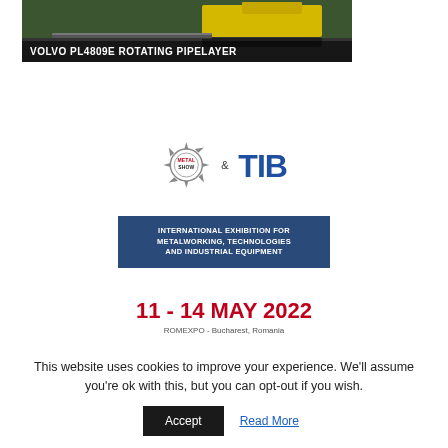[Figure (photo): Heavy machinery / pipelayer equipment on a road with forest background, dark overlay at bottom with title text 'VOLVO PL4809E ROTATING PIPELAYER']
[Figure (logo): MetalShow & TIB logo - gear/saw blade icon with 'METALSHOW' text in red/dark and '& TIB' in bold blue]
[Figure (infographic): Dark blue rectangular banner with white bold uppercase text: 'INTERNATIONAL EXHIBITION FOR METALWORKING, TECHNOLOGIES AND INDUSTRIAL EQUIPMENT']
11 - 14 MAY 2022
ROMEXPO - Bucharest, Romania
This website uses cookies to improve your experience. We'll assume you're ok with this, but you can opt-out if you wish.
Accept   Read More